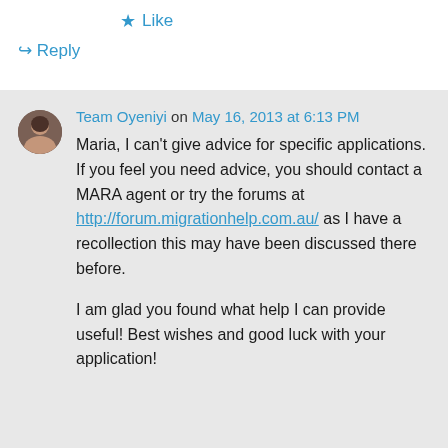★ Like
↪ Reply
Team Oyeniyi on May 16, 2013 at 6:13 PM
Maria, I can't give advice for specific applications. If you feel you need advice, you should contact a MARA agent or try the forums at http://forum.migrationhelp.com.au/ as I have a recollection this may have been discussed there before.

I am glad you found what help I can provide useful! Best wishes and good luck with your application!